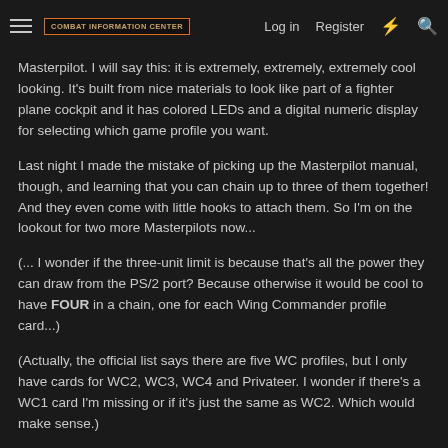COMBAT INFORMATION CENTER | Log in | Register
Masterpilot. I will say this: it is extremely, extremely, extremely cool looking. It's built from nice materials to look like part of a fighter plane cockpit and it has colored LEDs and a digital numeric display for selecting which game profile you want.
Last night I made the mistake of picking up the Masterpilot manual, though, and learning that you can chain up to three of them together! And they even come with little hooks to attach them. So I'm on the lookout for two more Masterpilots now...
(... I wonder if the three-unit limit is because that's all the power they can draw from the PS/2 port? Because otherwise it would be cool to have FOUR in a chain, one for each Wing Commander profile card...)
(Actually, the official list says there are five WC profiles, but I only have cards for WC2, WC3, WC4 and Privateer. I wonder if there's a WC1 card I'm missing or if it's just the same as WC2. Which would make sense.)